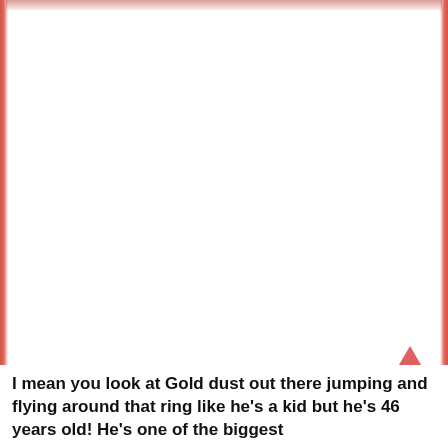[Figure (photo): Screenshot of a mobile webpage or article. The main content area is white/blank with colored edge bars on left and right suggesting a background image of a wrestling ring crowd in red tones. A pink/salmon upward arrow icon appears near the bottom right as a scroll-to-top button.]
I mean you look at Gold dust out there jumping and flying around that ring like he's a kid but he's 46 years old! He's one of the biggest